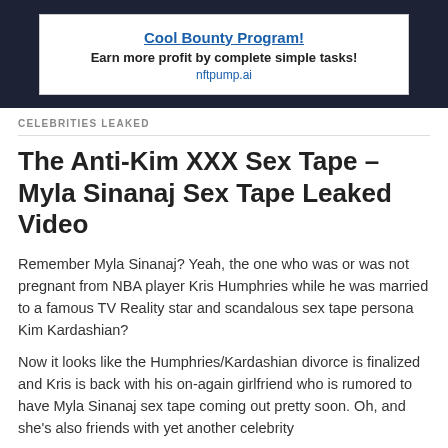[Figure (infographic): Advertisement banner with dark navy background containing a white box promoting 'Cool Bounty Program!' with text 'Earn more profit by complete simple tasks!' and URL 'nftpump.ai']
CELEBRITIES LEAKED
The Anti-Kim XXX Sex Tape – Myla Sinanaj Sex Tape Leaked Video
Remember Myla Sinanaj? Yeah, the one who was or was not pregnant from NBA player Kris Humphries while he was married to a famous TV Reality star and scandalous sex tape persona Kim Kardashian?
Now it looks like the Humphries/Kardashian divorce is finalized and Kris is back with his on-again girlfriend who is rumored to have Myla Sinanaj sex tape coming out pretty soon. Oh, and she's also friends with yet another celebrity